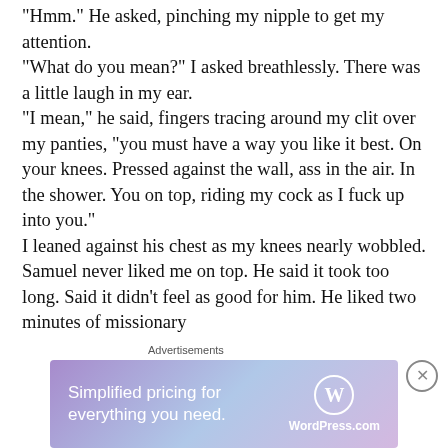"Hmm." He asked, pinching my nipple to get my attention.
"What do you mean?" I asked breathlessly. There was a little laugh in my ear.
"I mean," he said, fingers tracing around my clit over my panties, "you must have a way you like it best. On your knees. Pressed against the wall, ass in the air. In the shower. You on top, riding my cock as I fuck up into you."
I leaned against his chest as my knees nearly wobbled. Samuel never liked me on top. He said it took too long. Said it didn't feel as good for him. He liked two minutes of missionary
Advertisements
[Figure (other): WordPress.com advertisement banner: 'Simplified pricing for everything you need.' with WordPress.com logo on a purple-blue gradient background.]